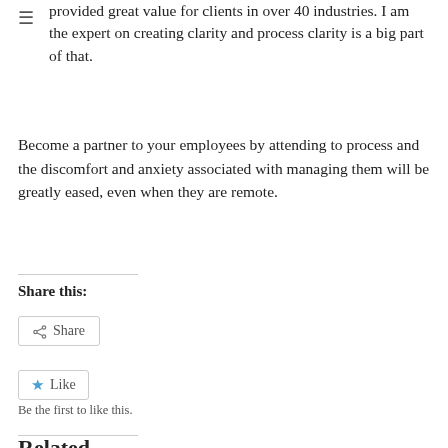provided great value for clients in over 40 industries. I am the expert on creating clarity and process clarity is a big part of that.
Become a partner to your employees by attending to process and the discomfort and anxiety associated with managing them will be greatly eased, even when they are remote.
Share this:
Share
Like
Be the first to like this.
Related